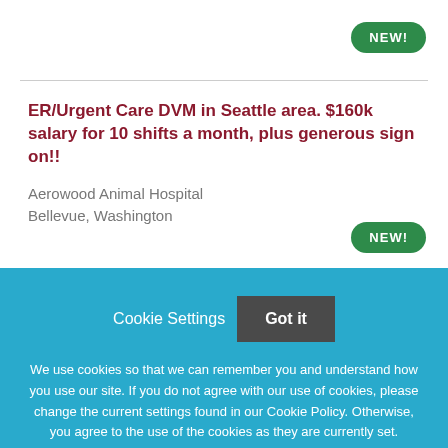[Figure (other): Green rounded badge with white bold text 'NEW!' in top right corner]
ER/Urgent Care DVM in Seattle area. $160k salary for 10 shifts a month, plus generous sign on!!
Aerowood Animal Hospital
Bellevue, Washington
[Figure (other): Green rounded badge with white bold text 'NEW!' in right side]
Cookie Settings  Got it
We use cookies so that we can remember you and understand how you use our site. If you do not agree with our use of cookies, please change the current settings found in our Cookie Policy. Otherwise, you agree to the use of the cookies as they are currently set.